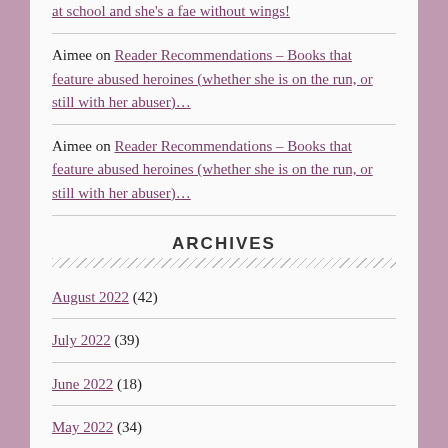at school and she's a fae without wings!
Aimee on Reader Recommendations – Books that feature abused heroines (whether she is on the run, or still with her abuser)…
Aimee on Reader Recommendations – Books that feature abused heroines (whether she is on the run, or still with her abuser)…
ARCHIVES
August 2022 (42)
July 2022 (39)
June 2022 (18)
May 2022 (34)